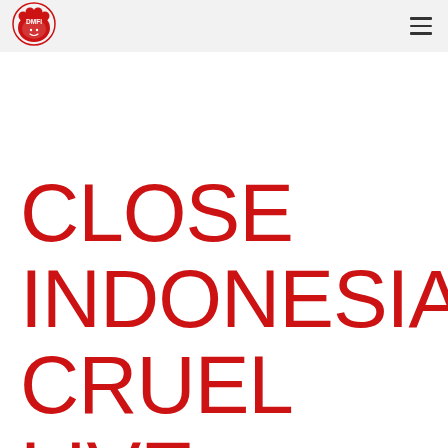DMFI logo and navigation menu
CLOSE INDONESIA'S CRUEL LIVE ANIMAL